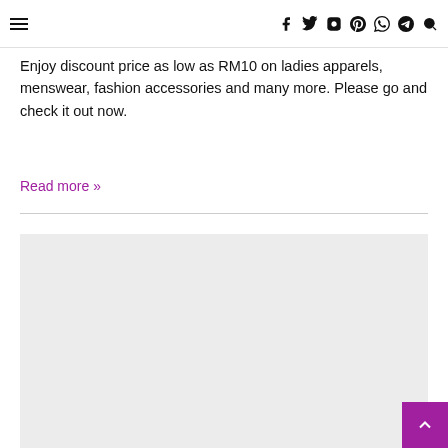≡  f  tw  ig  pint  whatsapp  telegram  search
Enjoy discount price as low as RM10 on ladies apparels, menswear, fashion accessories and many more. Please go and check it out now.
Read more »
[Figure (other): Light gray rectangular placeholder image area below a horizontal divider line]